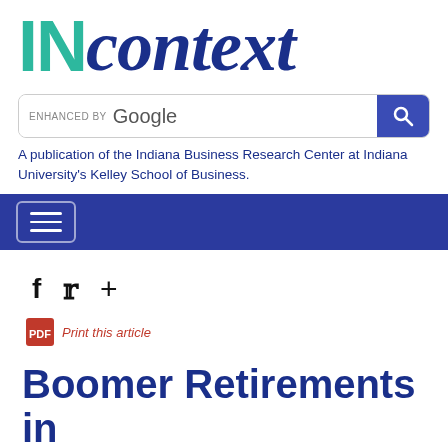INcontext
A publication of the Indiana Business Research Center at Indiana University's Kelley School of Business.
[Figure (screenshot): Navigation bar with hamburger menu button on dark blue background]
[Figure (infographic): Social media share icons: f (Facebook), bird (Twitter), + (more)]
Print this article
Boomer Retirements in